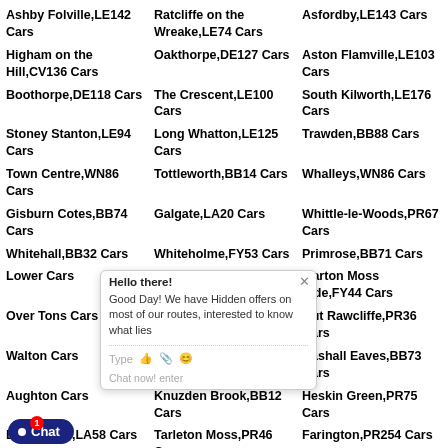Ashby Folville,LE142 Cars
Ratcliffe on the Wreake,LE74 Cars
Asfordby,LE143 Cars
Higham on the Hill,CV136 Cars
Oakthorpe,DE127 Cars
Aston Flamville,LE103 Cars
Boothorpe,DE118 Cars
The Crescent,LE100 Cars
South Kilworth,LE176 Cars
Stoney Stanton,LE94 Cars
Long Whatton,LE125 Cars
Trawden,BB88 Cars
Town Centre,WN86 Cars
Tottleworth,BB14 Cars
Whalleys,WN86 Cars
Gisburn Cotes,BB74 Cars
Galgate,LA20 Cars
Whittle-le-Woods,PR67 Cars
Whitehall,BB32 Cars
Whiteholme,FY53 Cars
Primrose,BB71 Cars
Lower Cars
Salterforth,BB185 Cars
Marton Moss Side,FY44 Cars
Over T... Cars
Miller Fold,BB50 Cars
Out Rawcliffe,PR36 Cars
Walton Cars
Newchurch,BB49 Cars
Bashall Eaves,BB73 Cars
Aught... Cars
Knuzden Brook,BB12 Cars
Heskin Green,PR75 Cars
B...wn End,LA58 Cars
Tarleton Moss,PR46 Cars
Farington,PR254 Cars